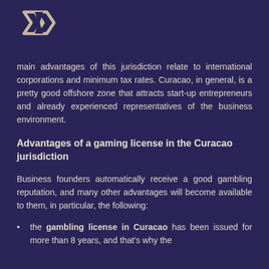[Figure (logo): Diamond/gem shaped logo with overlapping chevron/arrow shapes in light beige/gold color]
main advantages of this jurisdiction relate to international corporations and minimum tax rates. Curacao, in general, is a pretty good offshore zone that attracts start-up entrepreneurs and already experienced representatives of the business environment.
Advantages of a gaming license in the Curacao jurisdiction
Business founders automatically receive a good gambling reputation, and many other advantages will become available to them, in particular, the following:
the gambling license in Curacao has been issued for more than 8 years, and that's why the